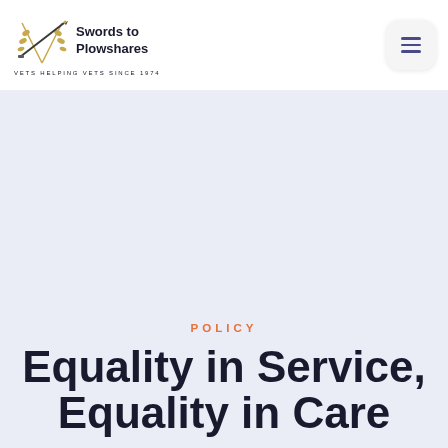[Figure (logo): Swords to Plowshares logo with wheat/sword illustration and text 'Swords to Plowshares' and tagline 'VETS HELPING VETS SINCE 1974']
POLICY
Equality in Service, Equality in Care